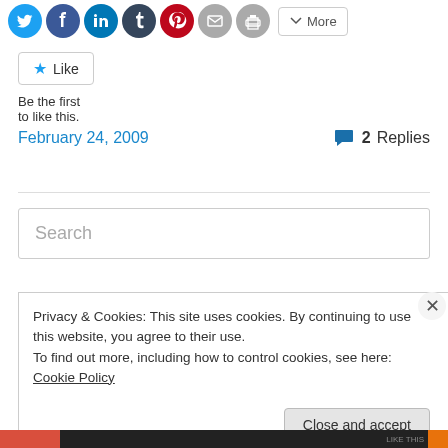[Figure (screenshot): Row of social sharing icon circles: Twitter (blue bird), Facebook (blue f), LinkedIn (blue in), Tumblr (dark t), Pinterest (red P), Email (grey envelope), Print (grey printer), and a 'More' button]
Like
Be the first to like this.
February 24, 2009
2 Replies
Search
Privacy & Cookies: This site uses cookies. By continuing to use this website, you agree to their use.
To find out more, including how to control cookies, see here: Cookie Policy
Close and accept